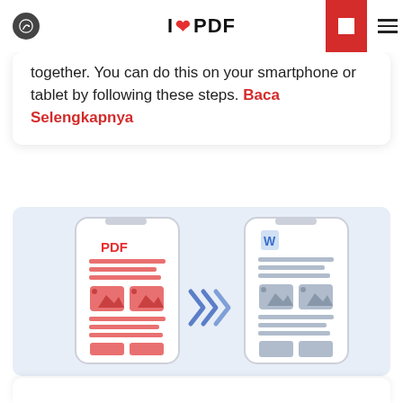ILOVEPDF
together. You can do this on your smartphone or tablet by following these steps. Baca Selengkapnya
[Figure (illustration): Illustration showing two smartphones side by side with double chevron arrows between them. The left phone shows a PDF document with red text and red image placeholders. The right phone shows a Word document (with a blue W icon) and gray image placeholders. Represents PDF to Word conversion on mobile.]